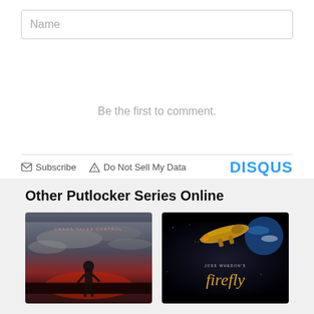Name
Be the first to comment.
Subscribe   Do Not Sell My Data   DISQUS
Other Putlocker Series Online
[Figure (photo): Movie/TV series poster showing a dramatic scene with text CHAOS TAKES CONTROL and a figure against stormy red sky]
[Figure (photo): Firefly TV series poster showing a spaceship with text JOSS WHEDON'S Firefly in golden script]